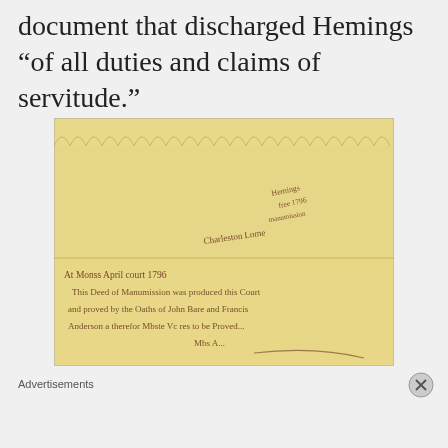document that discharged Hemings “of all duties and claims of servitude.”
[Figure (photo): Photograph of an aged historical handwritten document on yellowed parchment with scalloped/torn top edge. The document shows cursive handwriting in brown ink. The lower portion reads 'At Monss April court 1796 This Deed of Manumission was produced this Court and proved by the Oaths of John Bare and Francis Anderson a therfor Mbste Vc res to be Proved...' with additional cursive text in upper right area.]
Advertisements